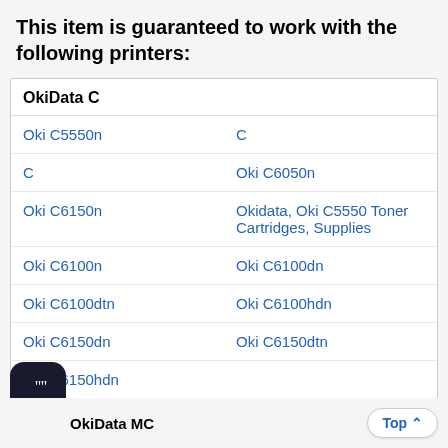This item is guaranteed to work with the following printers:
| OkiData C |  |
| --- | --- |
| Oki C5550n | C |
| C | Oki C6050n |
| Oki C6150n | Okidata, Oki C5550 Toner Cartridges, Supplies |
| Oki C6100n | Oki C6100dn |
| Oki C6100dtn | Oki C6100hdn |
| Oki C6150dn | Oki C6150dtn |
| Oki C6150hdn |  |
OkiData MC